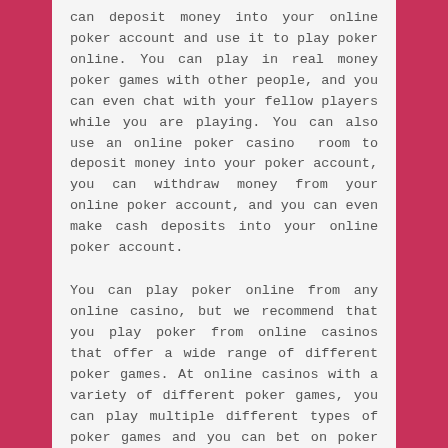can deposit money into your online poker account and use it to play poker online. You can play in real money poker games with other people, and you can even chat with your fellow players while you are playing. You can also use an online poker casino room to deposit money into your poker account, you can withdraw money from your online poker account, and you can even make cash deposits into your online poker account.
You can play poker online from any online casino, but we recommend that you play poker from online casinos that offer a wide range of different poker games. At online casinos with a variety of different poker games, you can play multiple different types of poker games and you can bet on poker hands.